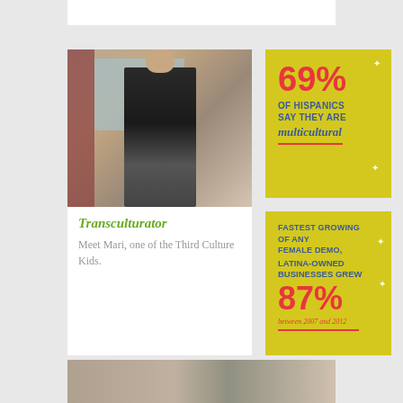[Figure (photo): Woman wearing black cardigan and floral headpiece standing in a room with red curtains and green exercise ball]
Transculturator
Meet Mari, one of the Third Culture Kids.
[Figure (infographic): Yellow box with stat: 69% OF HISPANICS SAY THEY ARE multicultural]
[Figure (infographic): Yellow box with stat: FASTEST GROWING OF ANY FEMALE DEMO, LATINA-OWNED BUSINESSES GREW 87% between 2007 and 2012]
[Figure (photo): Two men at a barbershop or photography setting]